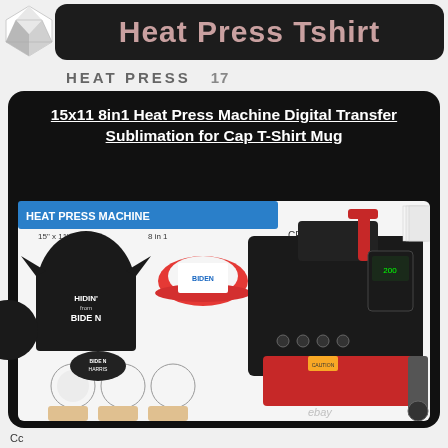Heat Press Tshirt
HEAT PRESS
15x11 8in1 Heat Press Machine Digital Transfer Sublimation for Cap T-Shirt Mug
[Figure (photo): Product listing image showing a heat press machine (15x11 8in1) displayed with sample items including a black T-shirt with 'HIDIN from BIDEN' text, a cap, mugs, and a face mask. Product image has 'HEAT PRESS MACHINE 15" x 11" 8 in 1 CE' banner and ebay watermark.]
Cc